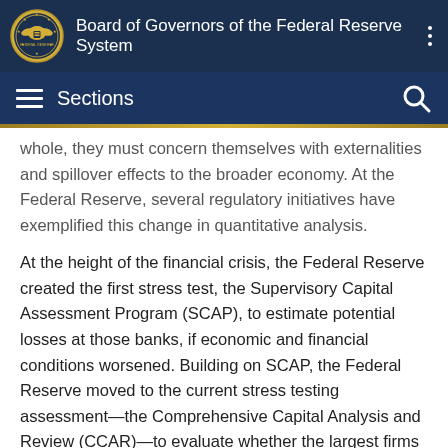Board of Governors of the Federal Reserve System
Sections
whole, they must concern themselves with externalities and spillover effects to the broader economy. At the Federal Reserve, several regulatory initiatives have exemplified this change in quantitative analysis.
At the height of the financial crisis, the Federal Reserve created the first stress test, the Supervisory Capital Assessment Program (SCAP), to estimate potential losses at those banks, if economic and financial conditions worsened. Building on SCAP, the Federal Reserve moved to the current stress testing assessment—the Comprehensive Capital Analysis and Review (CCAR)—to evaluate whether the largest firms have sufficient capital to absorb potential losses and continue to lend under stressful conditions. In the